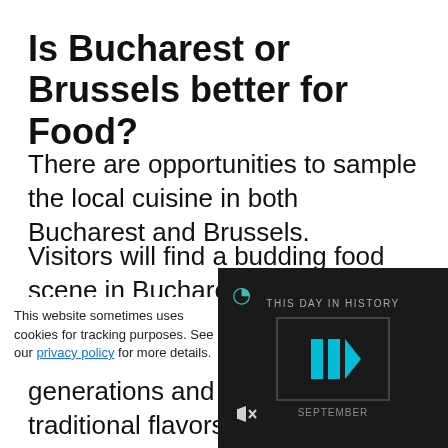Is Bucharest or Brussels better for Food?
There are opportunities to sample the local cuisine in both Bucharest and Brussels.
Visitors will find a budding food scene in Bucharest. Many Romanian recipes have been passed down through the generations and they still use traditional flavors. You'll see some German or Hungarian influences but the flavors are
This website sometimes uses cookies for tracking purposes. See our privacy policy for more details.
[Figure (screenshot): THIS DAY IN HISTORY video player overlay with blue play button icon on dark background, with mute icon and Q logo icon visible. Text reads 'SEPTEMBER' at the bottom.]
traditional element...